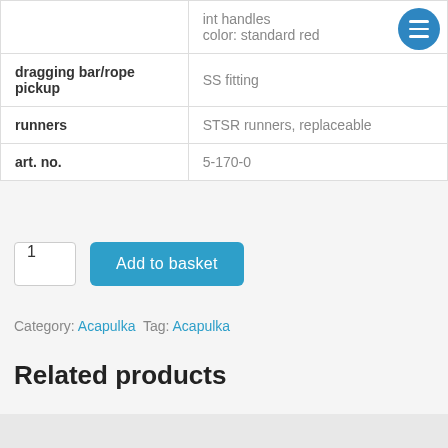| Feature | Details |
| --- | --- |
|  | int handles
color: standard red |
| dragging bar/rope pickup | SS fitting |
| runners | STSR runners, replaceable |
| art. no. | 5-170-0 |
1  Add to basket
Category: Acapulka  Tag: Acapulka
Related products